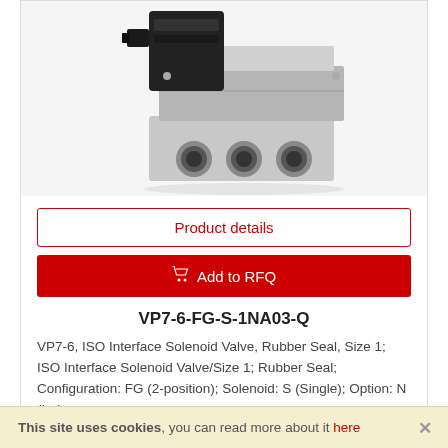[Figure (photo): Industrial solenoid valve with black coil housing on top and silver/grey metal body with three circular ports on the front face.]
Product details
Add to RFQ
VP7-6-FG-S-1NA03-Q
VP7-6, ISO Interface Solenoid Valve, Rubber Seal, Size 1; ISO Interface Solenoid Valve/Size 1; Rubber Seal; Configuration: FG (2-position); Solenoid: S (Single); Option: N (Ind …
This site uses cookies, you can read more about it here